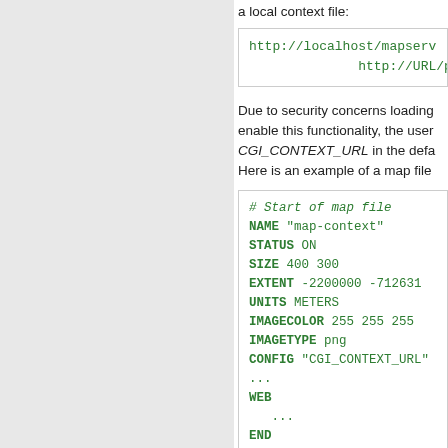a local context file:
http://localhost/mapserv...
http://URL/p...
Due to security concerns loading... enable this functionality, the user... CGI_CONTEXT_URL in the defa... Here is an example of a map file...
# Start of map file
NAME "map-context"
STATUS ON
SIZE 400 300
EXTENT -2200000 -712631...
UNITS METERS
IMAGECOLOR 255 255 255
IMAGETYPE png
CONFIG "CGI_CONTEXT_URL"...
...
WEB
   ...
END
LAYER
   ...
END